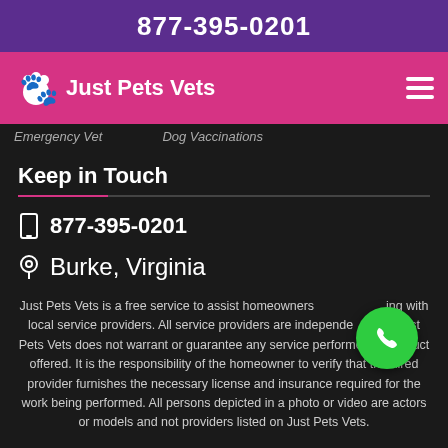877-395-0201
Just Pets Vets
Emergency Vet   Dog Vaccinations
Keep in Touch
877-395-0201
Burke, Virginia
Just Pets Vets is a free service to assist homeowners connecting with local service providers. All service providers are independent. Just Pets Vets does not warrant or guarantee any service performed or product offered. It is the responsibility of the homeowner to verify that the hired provider furnishes the necessary license and insurance required for the work being performed. All persons depicted in a photo or video are actors or models and not providers listed on Just Pets Vets.